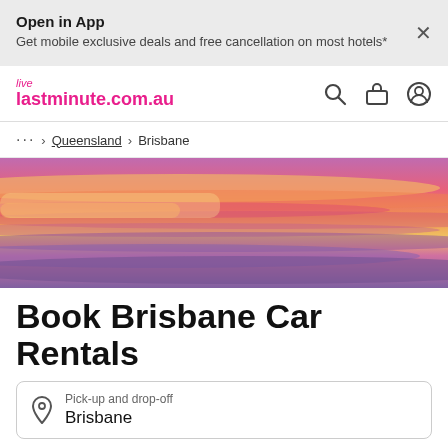Open in App
Get mobile exclusive deals and free cancellation on most hotels*
[Figure (logo): live lastminute.com.au logo in pink/magenta]
... > Queensland > Brisbane
[Figure (photo): Brisbane sunset sky hero image with pink, orange, purple and gold cloud streaks]
Book Brisbane Car Rentals
Pick-up and drop-off
Brisbane